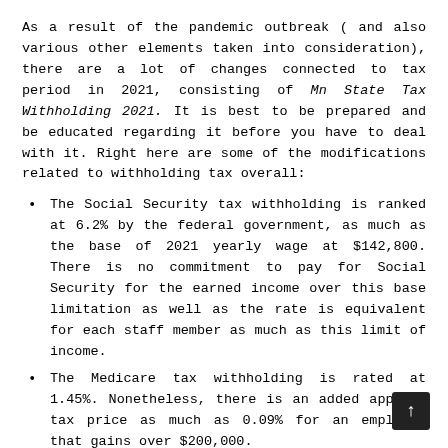As a result of the pandemic outbreak ( and also various other elements taken into consideration), there are a lot of changes connected to tax period in 2021, consisting of Mn State Tax Withholding 2021. It is best to be prepared and be educated regarding it before you have to deal with it. Right here are some of the modifications related to withholding tax overall:
The Social Security tax withholding is ranked at 6.2% by the federal government, as much as the base of 2021 yearly wage at $142,800. There is no commitment to pay for Social Security for the earned income over this base limitation as well as the rate is equivalent for each staff member as much as this limit of income.
The Medicare tax withholding is rated at 1.45%. Nonetheless, there is an added applied tax price as much as 0.09% for an employee that gains over $200,000.
The employer's suit for Social Security as well as